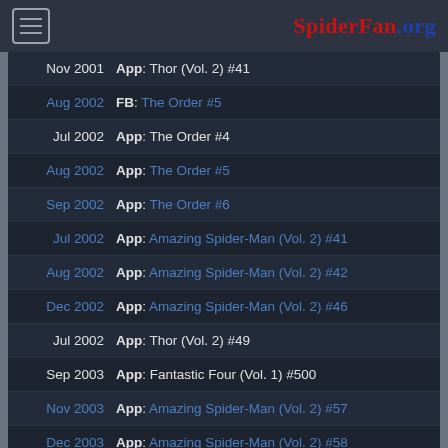SpiderFan.org
Nov 2001 App: Thor (Vol. 2) #41
Aug 2002 FB: The Order #5
Jul 2002 App: The Order #4
Aug 2002 App: The Order #5
Sep 2002 App: The Order #6
Jul 2002 App: Amazing Spider-Man (Vol. 2) #41
Aug 2002 App: Amazing Spider-Man (Vol. 2) #42
Dec 2002 App: Amazing Spider-Man (Vol. 2) #46
Jul 2002 App: Thor (Vol. 2) #49
Sep 2003 App: Fantastic Four (Vol. 1) #500
Nov 2003 App: Amazing Spider-Man (Vol. 2) #57
Dec 2003 App: Amazing Spider-Man (Vol. 2) #58
Dec 2003 App: Amazing Spider-Man (Vol. 1) #500